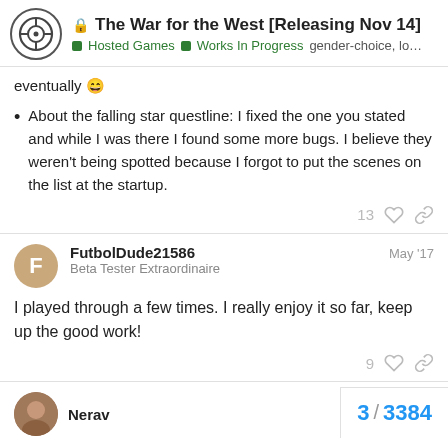The War for the West [Releasing Nov 14] — Hosted Games | Works In Progress | gender-choice, lo...
eventually 😄
About the falling star questline: I fixed the one you stated and while I was there I found some more bugs. I believe they weren't being spotted because I forgot to put the scenes on the list at the startup.
FutbolDude21586 — Beta Tester Extraordinaire — May '17
I played through a few times. I really enjoy it so far, keep up the good work!
Nerav
3 / 3384